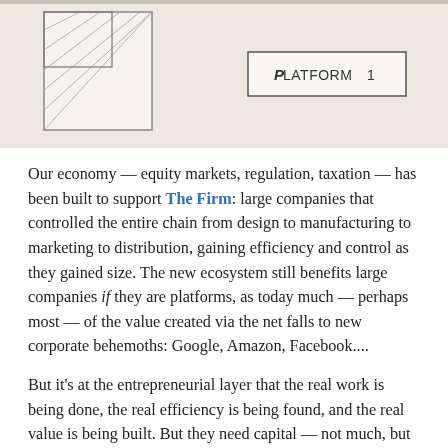[Figure (photo): Partial hand-drawn sketch on white paper showing two rectangles with cross-hatching on the left, and a box labeled 'PLATFORM 1' on the right, on a light beige background.]
Our economy — equity markets, regulation, taxation — has been built to support The Firm: large companies that controlled the entire chain from design to manufacturing to marketing to distribution, gaining efficiency and control as they gained size. The new ecosystem still benefits large companies if they are platforms, as today much — perhaps most — of the value created via the net falls to new corporate behemoths: Google, Amazon, Facebook....
But it's at the entrepreneurial layer that the real work is being done, the real efficiency is being found, and the real value is being built. But they need capital — not much, but they need it. And they need to be able to recognize the value they create. That's what I hope Steve Case and